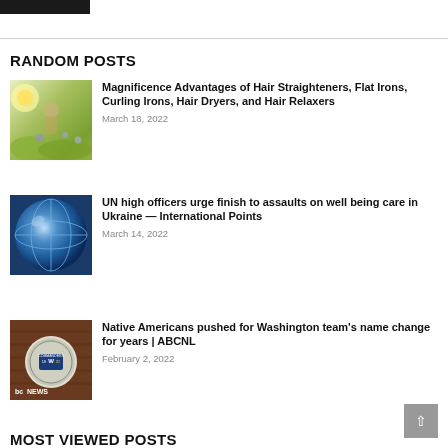RANDOM POSTS
Magnificence Advantages of Hair Straighteners, Flat Irons, Curling Irons, Hair Dryers, and Hair Relaxers — March 18, 2022
UN high officers urge finish to assaults on well being care in Ukraine — International Points — March 14, 2022
Native Americans pushed for Washington team's name change for years | ABCNL — February 2, 2022
MOST VIEWED POSTS